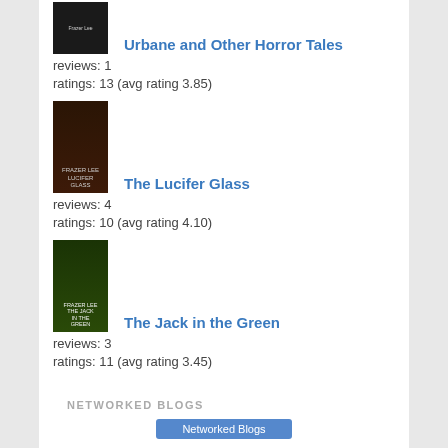[Figure (photo): Book cover for Urbane and Other Horror Tales - dark cover]
Urbane and Other Horror Tales
reviews: 1
ratings: 13 (avg rating 3.85)
[Figure (photo): Book cover for The Lucifer Glass by Frazer Lee]
The Lucifer Glass
reviews: 4
ratings: 10 (avg rating 4.10)
[Figure (photo): Book cover for The Jack in the Green by Frazer Lee - green forest cover]
The Jack in the Green
reviews: 3
ratings: 11 (avg rating 3.45)
NETWORKED BLOGS